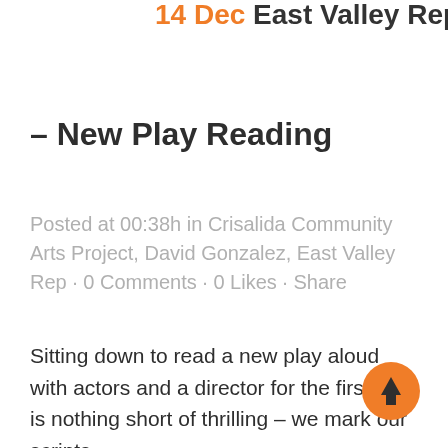14 Dec East Valley Rep
– New Play Reading
Posted at 00:38h in Crisalida Community Arts Project, David Gonzalez, East Valley Rep · 0 Comments · 0 Likes · Share
Sitting down to read a new play aloud with actors and a director for the first time is nothing short of thrilling – we mark our scripts,
[Figure (illustration): Orange circular scroll-to-top button with an upward arrow icon]